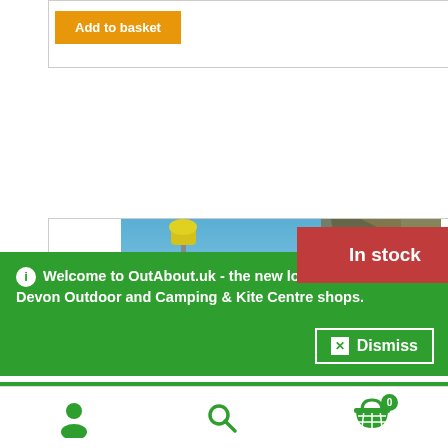[Figure (screenshot): Add to basket orange button inside a product card outline]
[Figure (screenshot): Product image showing cleaning tools (mop/brush on pole, sponge, spray bottle) against a blue sky background, with a red 'In stock' badge overlay]
In stock
Welcome to OutAbout.uk - the new look website for the Devon Outdoor and Camping & Kite Centre shops.
Dismiss
[Figure (screenshot): Bottom navigation bar with user/account icon, search icon, and shopping cart icon showing badge 0]